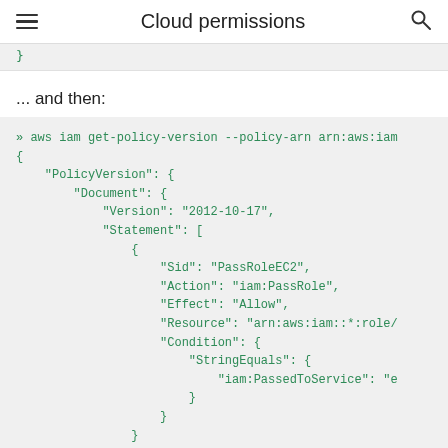Cloud permissions
}
... and then:
» aws iam get-policy-version --policy-arn arn:aws:iam
{
    "PolicyVersion": {
        "Document": {
            "Version": "2012-10-17",
            "Statement": [
                {
                    "Sid": "PassRoleEC2",
                    "Action": "iam:PassRole",
                    "Effect": "Allow",
                    "Resource": "arn:aws:iam::*:role/
                    "Condition": {
                        "StringEquals": {
                            "iam:PassedToService": "e
                        }
                    }
                }